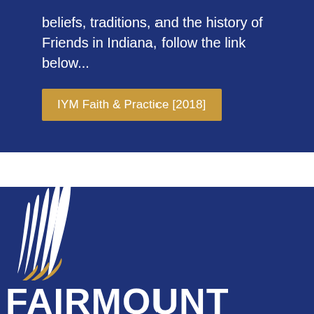beliefs, traditions, and the history of Friends in Indiana, follow the link below...
IYM Faith & Practice [2018]
[Figure (logo): Fairmount Friends Church logo with stylized wing icon in white and gold on dark blue background, with text FAIRMOUNT and FRIENDS CHURCH below]